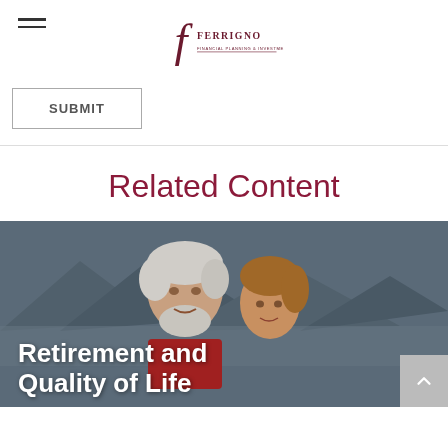Ferrigno [logo]
SUBMIT
Related Content
[Figure (photo): An elderly couple smiling outdoors near mountains and water, with text overlay reading 'Retirement and Quality of Life']